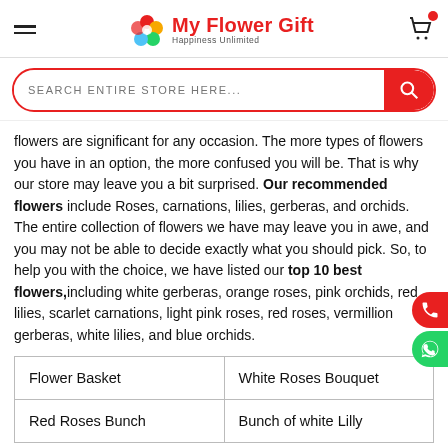My Flower Gift – Happiness Unlimited
SEARCH ENTIRE STORE HERE...
flowers are significant for any occasion. The more types of flowers you have in an option, the more confused you will be. That is why our store may leave you a bit surprised. Our recommended flowers include Roses, carnations, lilies, gerberas, and orchids. The entire collection of flowers we have may leave you in awe, and you may not be able to decide exactly what you should pick. So, to help you with the choice, we have listed our top 10 best flowers,including white gerberas, orange roses, pink orchids, red lilies, scarlet carnations, light pink roses, red roses, vermillion gerberas, white lilies, and blue orchids.
| Flower Basket | White Roses Bouquet |
| Red Roses Bunch | Bunch of white Lilly |